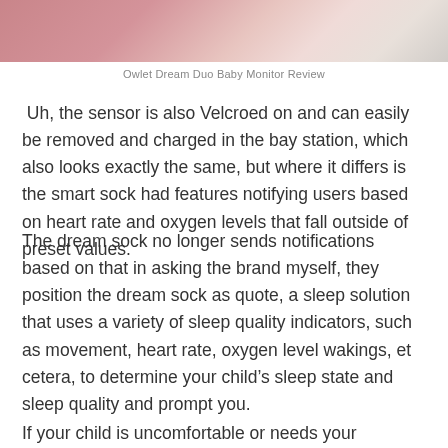[Figure (photo): Top portion of a product photo showing a pink/rose-colored pillow or cushion on a light textured background, partially cropped]
Owlet Dream Duo Baby Monitor Review
Uh, the sensor is also Velcroed on and can easily be removed and charged in the bay station, which also looks exactly the same, but where it differs is the smart sock had features notifying users based on heart rate and oxygen levels that fall outside of preset values.
The dream sock no longer sends notifications based on that in asking the brand myself, they position the dream sock as quote, a sleep solution that uses a variety of sleep quality indicators, such as movement, heart rate, oxygen level wakings, et cetera, to determine your child’s sleep state and sleep quality and prompt you.
If your child is uncomfortable or needs your assistance to